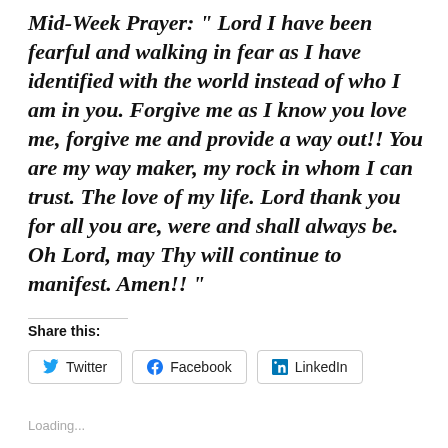Mid-Week Prayer: “ Lord I have been fearful and walking in fear as I have identified with the world instead of who I am in you. Forgive me as I know you love me, forgive me and provide a way out!! You are my way maker, my rock in whom I can trust. The love of my life. Lord thank you for all you are, were and shall always be. Oh Lord, may Thy will continue to manifest. Amen!! “
Share this:
Twitter   Facebook   LinkedIn
Loading...